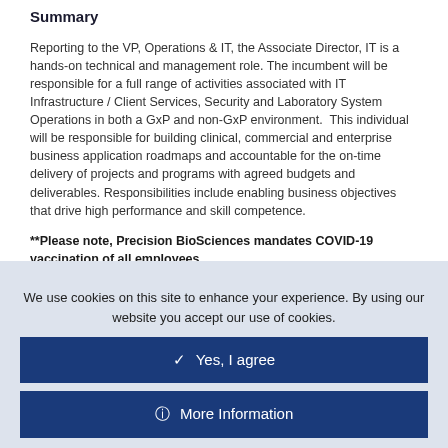Summary
Reporting to the VP, Operations & IT, the Associate Director, IT is a hands-on technical and management role. The incumbent will be responsible for a full range of activities associated with IT Infrastructure / Client Services, Security and Laboratory System Operations in both a GxP and non-GxP environment.  This individual will be responsible for building clinical, commercial and enterprise business application roadmaps and accountable for the on-time delivery of projects and programs with agreed budgets and deliverables. Responsibilities include enabling business objectives that drive high performance and skill competence.
**Please note, Precision BioSciences mandates COVID-19 vaccination of all employees.
We use cookies on this site to enhance your experience. By using our website you accept our use of cookies.
Yes, I agree
More Information